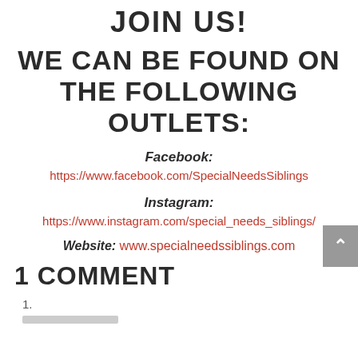JOIN US!
WE CAN BE FOUND ON THE FOLLOWING OUTLETS:
Facebook:
https://www.facebook.com/SpecialNeedsSiblings
Instagram:
https://www.instagram.com/special_needs_siblings/
Website: www.specialneedssiblings.com
1 COMMENT
1.